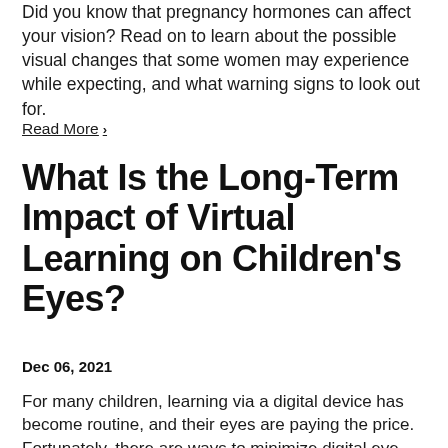Did you know that pregnancy hormones can affect your vision? Read on to learn about the possible visual changes that some women may experience while expecting, and what warning signs to look out for.
Read More ›
What Is the Long-Term Impact of Virtual Learning on Children's Eyes?
Dec 06, 2021
For many children, learning via a digital device has become routine, and their eyes are paying the price. Fortunately, there are ways to minimize digital eye strain while your child is studying.